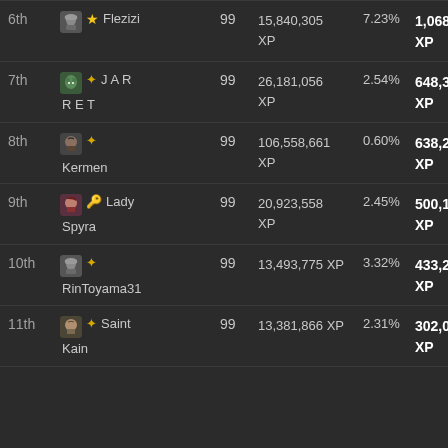| Rank | Player | Level | Total XP | % | Gained XP |
| --- | --- | --- | --- | --- | --- |
| 6th | ⭐ Flezizi | 99 | 15,840,305 XP | 7.23% | 1,068,229 XP |
| 7th | JAR RET | 99 | 26,181,056 XP | 2.54% | 648,385 XP |
| 8th | Kermen | 99 | 106,558,661 XP | 0.60% | 638,220 XP |
| 9th | Lady Spyra | 99 | 20,923,558 XP | 2.45% | 500,185 XP |
| 10th | RinToyama31 | 99 | 13,493,775 XP | 3.32% | 433,236 XP |
| 11th | Saint Kain | 99 | 13,381,866 XP | 2.31% | 302,052 XP |